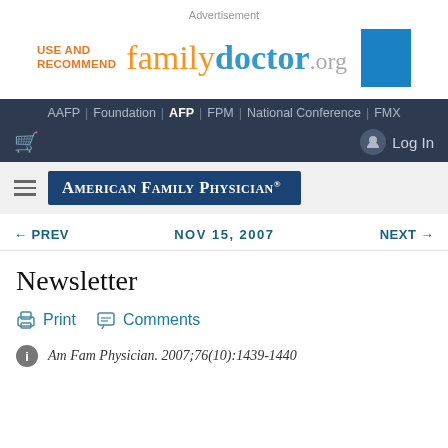Advertisement
[Figure (logo): familydoctor.org advertisement banner with USE AND RECOMMEND text and blue box]
AAFP | Foundation | AFP | FPM | National Conference | FMX
Log In
[Figure (logo): American Family Physician journal logo in dark blue box]
← PREV   NOV 15, 2007   NEXT →
Newsletter
Print   Comments
Am Fam Physician. 2007;76(10):1439-1440